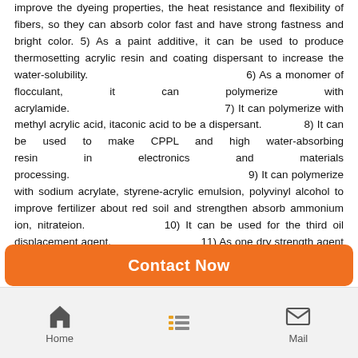improve the dyeing properties, the heat resistance and flexibility of fibers, so they can absorb color fast and have strong fastness and bright color. 5) As a paint additive, it can be used to produce thermosetting acrylic resin and coating dispersant to increase the water-solubility. 6) As a monomer of flocculant, it can polymerize with acrylamide. 7) It can polymerize with methyl acrylic acid, itaconic acid to be a dispersant. 8) It can be used to make CPPL and high water-absorbing resin in electronics and materials processing. 9) It can polymerize with sodium acrylate, styrene-acrylic emulsion, polyvinyl alcohol to improve fertilizer about red soil and strengthen absorb ammonium ion, nitrateion. 10) It can be used for the third oil displacement agent. 11) As one dry strength agent of papermaking additives, it can improve the quality of the paper. 12) It could be used as the plasticizer of cement admixture
Packing of Directly supply   Sodium Methylallyl Sulfonate : 20kg/bag in a PP
Contact Now
Home  Mail